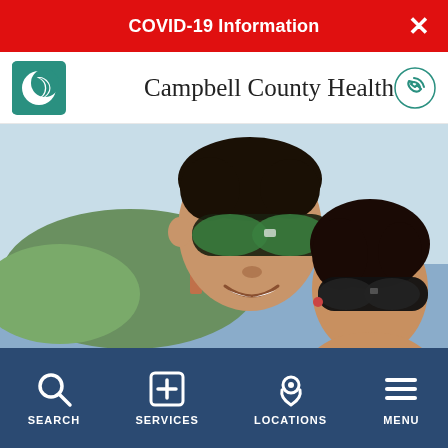COVID-19 Information
Campbell County Health
[Figure (photo): Selfie photo of a couple (man and woman) wearing sunglasses outdoors near the Golden Gate Bridge area, with green hills, blue water, and bridge towers visible in the background.]
SEARCH  SERVICES  LOCATIONS  MENU